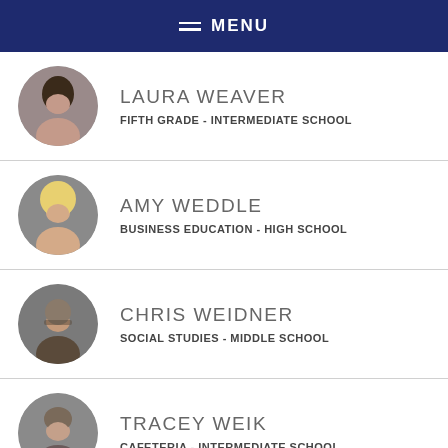MENU
LAURA WEAVER — FIFTH GRADE - INTERMEDIATE SCHOOL
AMY WEDDLE — BUSINESS EDUCATION - HIGH SCHOOL
CHRIS WEIDNER — SOCIAL STUDIES - MIDDLE SCHOOL
TRACEY WEIK — CAFETERIA - INTERMEDIATE SCHOOL